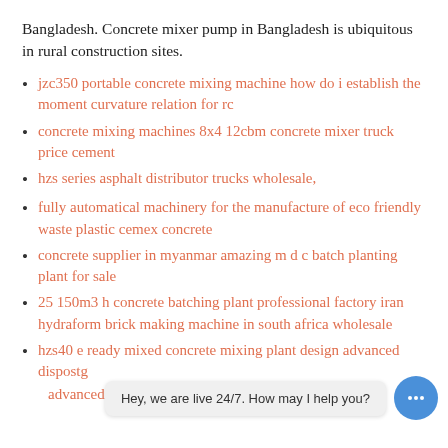Bangladesh. Concrete mixer pump in Bangladesh is ubiquitous in rural construction sites.
jzc350 portable concrete mixing machine how do i establish the moment curvature relation for rc
concrete mixing machines 8x4 12cbm concrete mixer truck price cement
hzs series asphalt distributor trucks wholesale,
fully automatical machinery for the manufacture of eco friendly waste plastic cemex concrete
concrete supplier in myanmar amazing m d c batch planting plant for sale
25 150m3 h concrete batching plant professional factory iran hydraform brick making machine in south africa wholesale
hzs40 e ready mixed concrete mixing plant design advanced dispos...g common